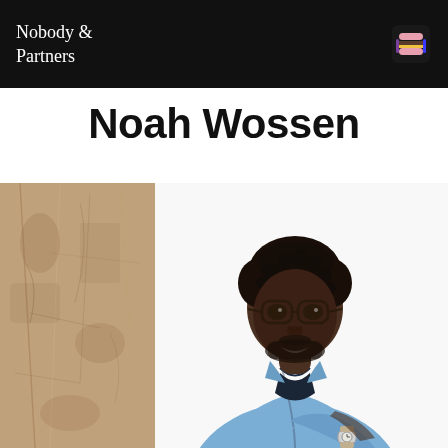Nobody &
Partners
Noah Wossen
[Figure (photo): Professional headshot of a young Black man with short curly hair, wearing round glasses, a light blue button-up shirt, smiling with arms crossed, leaning against a textured stone/marble column on white background.]